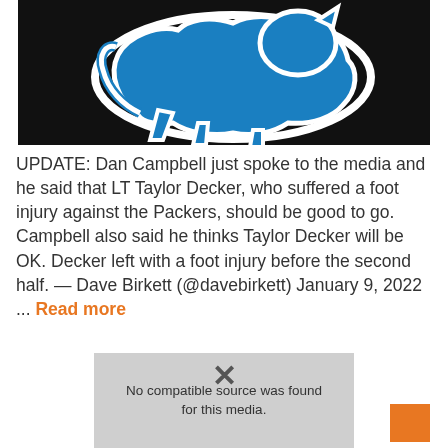[Figure (photo): Detroit Lions blue lion logo on dark background]
UPDATE: Dan Campbell just spoke to the media and he said that LT Taylor Decker, who suffered a foot injury against the Packers, should be good to go. Campbell also said he thinks Taylor Decker will be OK. Decker left with a foot injury before the second half. — Dave Birkett (@davebirkett) January 9, 2022
... Read more